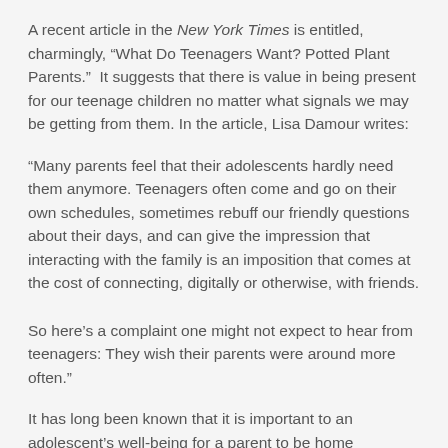A recent article in the New York Times is entitled, charmingly, “What Do Teenagers Want? Potted Plant Parents.”  It suggests that there is value in being present for our teenage children no matter what signals we may be getting from them. In the article, Lisa Damour writes:
“Many parents feel that their adolescents hardly need them anymore. Teenagers often come and go on their own schedules, sometimes rebuff our friendly questions about their days, and can give the impression that interacting with the family is an imposition that comes at the cost of connecting, digitally or otherwise, with friends.

So here’s a complaint one might not expect to hear from teenagers: They wish their parents were around more often.”
It has long been known that it is important to an adolescent’s well-being for a parent to be home...